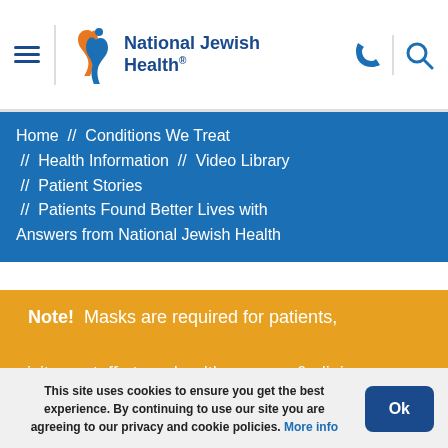National Jewish Health
Home // Conditions We Treat // Health Information // Video Library // Patient Stories // Patients Found Better Lives with Answers from National Jewish Health
Note! Masks are required for patients, visitors, staff at our health campus & clinics.
Patients Found Better
This site uses cookies to ensure you get the best experience. By continuing to use our site you are agreeing to our privacy and cookie policies. More info